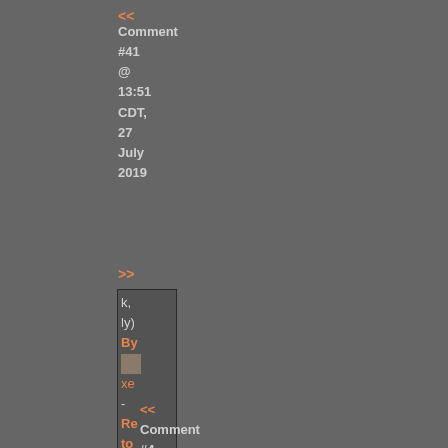<<
Comment
#41
@
13:51
CDT,
27
July
2019
>>
k,
ly)
By
[avatar]
xe
-
Re
to
#4
do
w
th
te
to
in
w
tin
=)
<<
Comment
#4